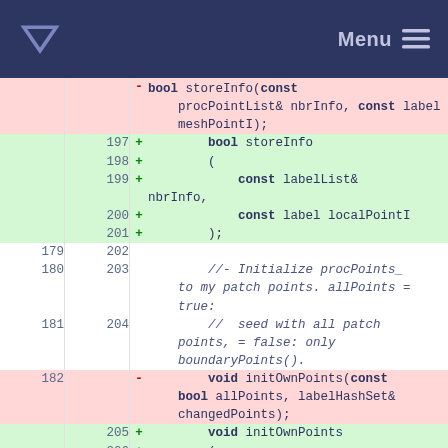Menu navigation bar with logo
| old | new | +/- | code |
| --- | --- | --- | --- |
|  |  | - | bool storeInfo(const procPointList& nbrInfo, const label meshPointI); |
| 197 |  | + | bool storeInfo |
| 198 |  | + | ( |
| 199 |  | + | const labelList& nbrInfo, |
| 200 |  | + | const label localPointI |
| 201 |  | + | ); |
| 179 | 202 |  |  |
| 180 | 203 |  | //- Initialize procPoints_ to my patch points. allPoints = true: |
| 181 | 204 |  | //  seed with all patch points, = false: only boundaryPoints(). |
| 182 |  | - | void initOwnPoints(const bool allPoints, labelHashSet& changedPoints); |
|  | 205 | + | void initOwnPoints |
|  | 206 | + | ( |